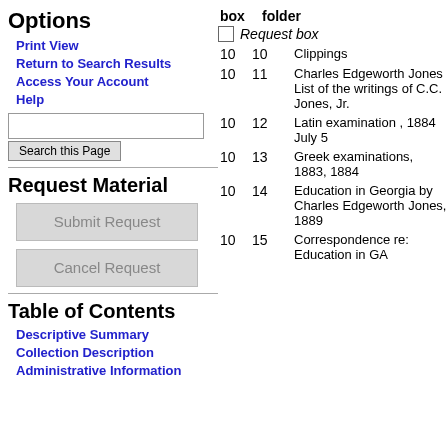Options
Print View
Return to Search Results
Access Your Account
Help
Request Material
Table of Contents
Descriptive Summary
Collection Description
Administrative Information
| box | folder |  |
| --- | --- | --- |
|  |  | Request box |
| 10 | 10 | Clippings |
| 10 | 11 | Charles Edgeworth Jones List of the writings of C.C. Jones, Jr. |
| 10 | 12 | Latin examination , 1884 July 5 |
| 10 | 13 | Greek examinations, 1883, 1884 |
| 10 | 14 | Education in Georgia by Charles Edgeworth Jones, 1889 |
| 10 | 15 | Correspondence re: Education in GA |